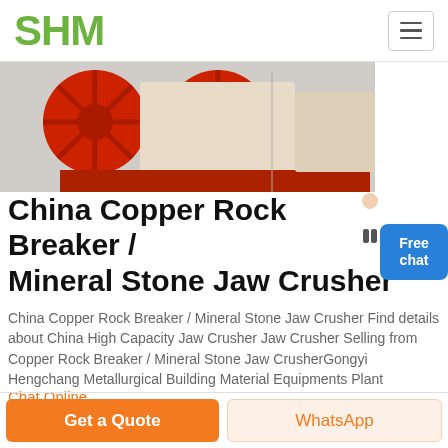SHM
[Figure (photo): Industrial jaw crusher machinery with red and beige/cream colored components, showing large flywheels and mechanical parts on a red frame.]
China Copper Rock Breaker / Mineral Stone Jaw Crusher
China Copper Rock Breaker / Mineral Stone Jaw Crusher Find details about China High Capacity Jaw Crusher Jaw Crusher Selling from Copper Rock Breaker / Mineral Stone Jaw CrusherGongyi Hengchang Metallurgical Building Material Equipments Plant
Chat Online